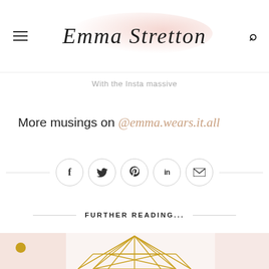Emma Stretton
With the Insta massive
More musings on @emma.wears.it.all
[Figure (other): Social media share icons row: Facebook, Twitter, Pinterest, LinkedIn, Email — each in a circle, flanked by horizontal lines]
FURTHER READING...
[Figure (illustration): Partial view of a geometric gold wireframe diamond/crystal shape on a blush pink background, cropped at bottom of page]